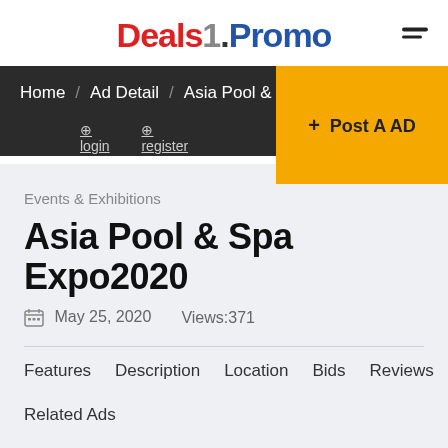Deals1.Promo
Home / Ad Detail / Asia Pool & S...
+ Post A AD
Events & Exhibitions
Asia Pool & Spa Expo2020
May 25, 2020   Views:371
Features   Description   Location   Bids   Reviews
Related Ads